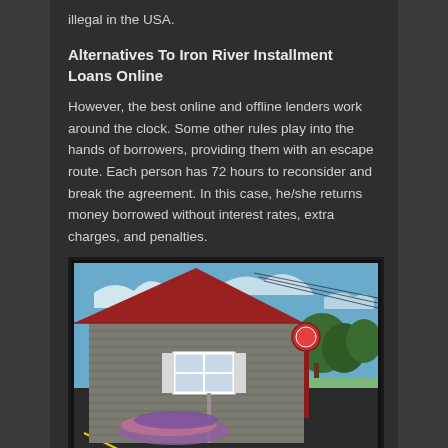illegal in the USA.
Alternatives To Iron River Installment Loans Online
However, the best online and offline lenders work around the clock. Some other rules play into the hands of borrowers, providing them with an escape route. Each person has 72 hours to reconsider and break the agreement. In this case, he/she returns money borrowed without interest rates, extra charges, and penalties.
[Figure (photo): Exterior photo of a small commercial building with gray siding and red roof trim, parked items in front on a dark asphalt parking lot, with a red sign post visible on the right and trees in the background under a blue sky.]